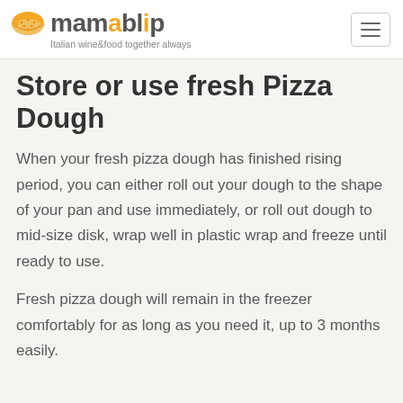mamablip — Italian wine&food together always
Store or use fresh Pizza Dough
When your fresh pizza dough has finished rising period, you can either roll out your dough to the shape of your pan and use immediately, or roll out dough to mid-size disk, wrap well in plastic wrap and freeze until ready to use.
Fresh pizza dough will remain in the freezer comfortably for as long as you need it, up to 3 months easily.